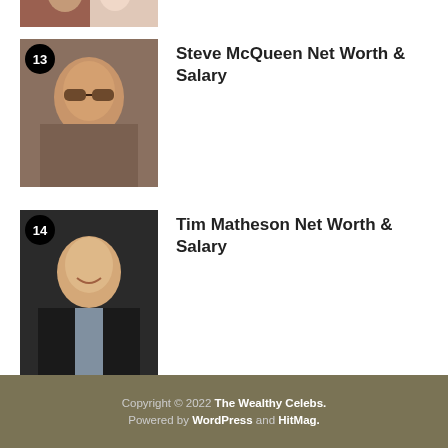[Figure (photo): Cropped photo of a couple partially visible at top of page]
13 Steve McQueen Net Worth & Salary
[Figure (photo): Photo of Steve McQueen wearing sunglasses with number 13 badge]
14 Tim Matheson Net Worth & Salary
[Figure (photo): Photo of Tim Matheson smiling in dark suit with number 14 badge]
Copyright © 2022 The Wealthy Celebs. Powered by WordPress and HitMag.